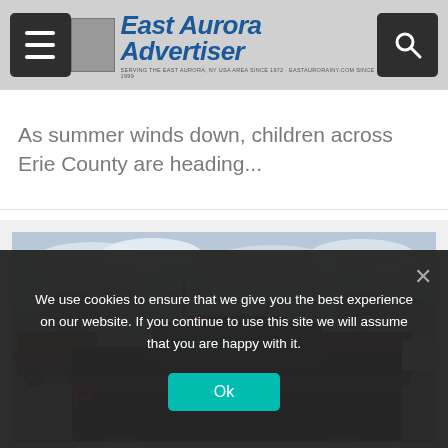East Aurora Advertiser — SERVING THE EAST AURORA, NY USA AREA SINCE 1972 · EASTAURORAINY.COM SINCE 1999
As summer winds down, children across Erie County are heading...
[Figure (photo): A black police car with 'POLICE' lettering in a parking lot, surrounded by pickup trucks and other vehicles under a cloudy sky.]
We use cookies to ensure that we give you the best experience on our website. If you continue to use this site we will assume that you are happy with it.